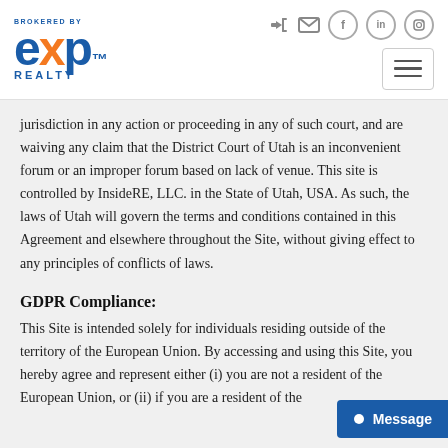[Figure (logo): eXp Realty logo - brokered by eXp Realty in blue and orange]
jurisdiction in any action or proceeding in any of such court, and are waiving any claim that the District Court of Utah is an inconvenient forum or an improper forum based on lack of venue. This site is controlled by InsideRE, LLC. in the State of Utah, USA. As such, the laws of Utah will govern the terms and conditions contained in this Agreement and elsewhere throughout the Site, without giving effect to any principles of conflicts of laws.
GDPR Compliance:
This Site is intended solely for individuals residing outside of the territory of the European Union. By accessing and using this Site, you hereby agree and represent either (i) you are not a resident of the European Union, or (ii) if you are a resident of the